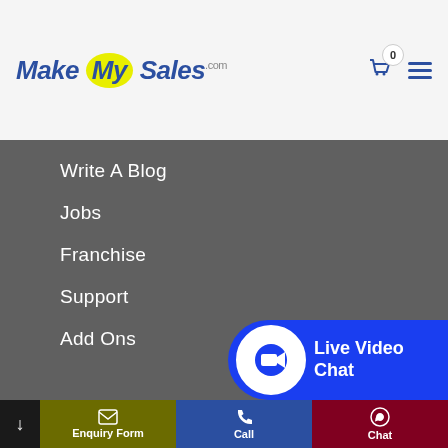[Figure (logo): MakeMySales.com logo with yellow oval around 'My']
Write A Blog
Jobs
Franchise
Support
Add Ons
Powered By
[Figure (logo): MakeMySales.com powered by logo]
[Figure (infographic): Live Video Chat button overlay with camera icon]
Enquiry Form
Call
Chat